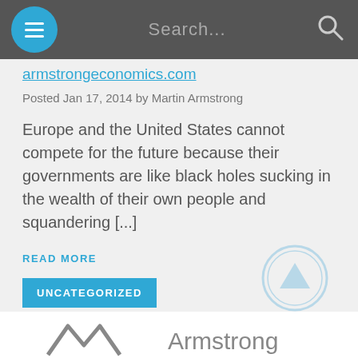Navigation bar with hamburger menu, search field, and search icon
armstrongeconomics.com (link, partially visible)
Posted Jan 17, 2014 by Martin Armstrong
Europe and the United States cannot compete for the future because their governments are like black holes sucking in the wealth of their own people and squandering [...]
READ MORE
UNCATEGORIZED
[Figure (illustration): Light blue circular scroll-to-top arrow button]
[Figure (logo): Armstrong Economics logo with stylized M mark and Armstrong text]